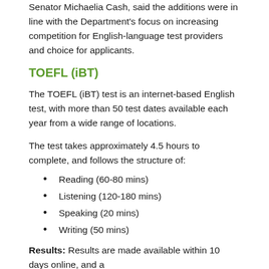Senator Michaelia Cash, said the additions were in line with the Department's focus on increasing competition for English-language test providers and choice for applicants.
TOEFL (iBT)
The TOEFL (iBT) test is an internet-based English test, with more than 50 test dates available each year from a wide range of locations.
The test takes approximately 4.5 hours to complete, and follows the structure of:
Reading (60-80 mins)
Listening (120-180 mins)
Speaking (20 mins)
Writing (50 mins)
Results: Results are made available within 10 days online, and a